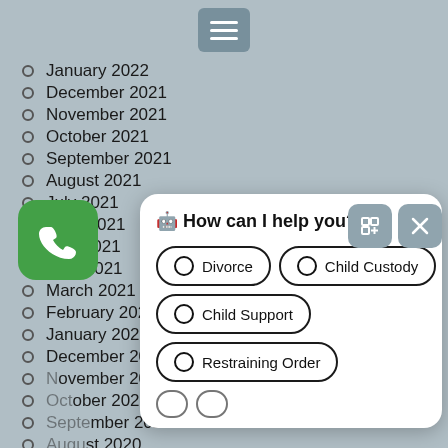[Figure (screenshot): Menu hamburger icon button]
January 2022
December 2021
November 2021
October 2021
September 2021
August 2021
July 2021
June 2021
May 2021
April 2021
March 2021
February 2021
January 2021
December 2020
November 2020
October 2020
September 2020
August 2020
July 2020
June 2020
May 2020
April 2020
March 2020
February 2020
January 2020
December 2019
[Figure (screenshot): Chat widget with 'How can I help you?' and options: Divorce, Child Custody, Child Support, Restraining Order]